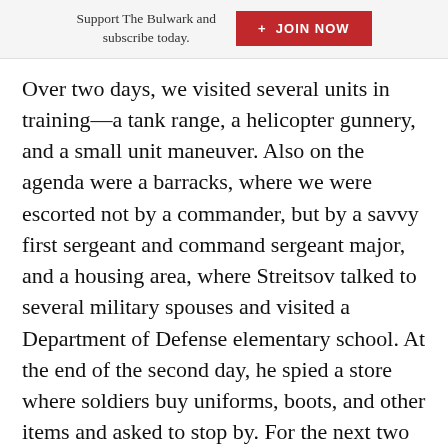Support The Bulwark and subscribe today. + JOIN NOW
Over two days, we visited several units in training—a tank range, a helicopter gunnery, and a small unit maneuver. Also on the agenda were a barracks, where we were escorted not by a commander, but by a savvy first sergeant and command sergeant major, and a housing area, where Streitsov talked to several military spouses and visited a Department of Defense elementary school. At the end of the second day, he spied a store where soldiers buy uniforms, boots, and other items and asked to stop by. For the next two hours, he talked with the German civilian who ran the place and was amazed by the connection